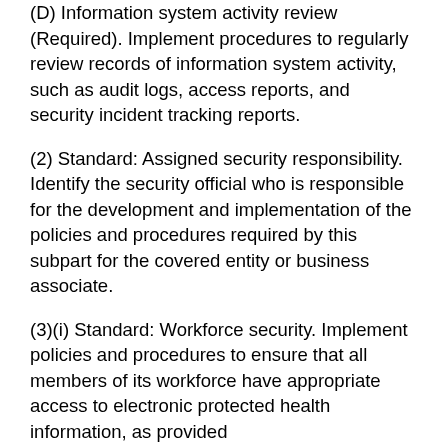(D) Information system activity review (Required). Implement procedures to regularly review records of information system activity, such as audit logs, access reports, and security incident tracking reports.
(2) Standard: Assigned security responsibility. Identify the security official who is responsible for the development and implementation of the policies and procedures required by this subpart for the covered entity or business associate.
(3)(i) Standard: Workforce security. Implement policies and procedures to ensure that all members of its workforce have appropriate access to electronic protected health information, as provided